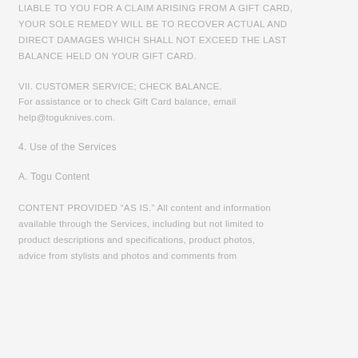LIABLE TO YOU FOR A CLAIM ARISING FROM A GIFT CARD, YOUR SOLE REMEDY WILL BE TO RECOVER ACTUAL AND DIRECT DAMAGES WHICH SHALL NOT EXCEED THE LAST BALANCE HELD ON YOUR GIFT CARD.
VII. CUSTOMER SERVICE; CHECK BALANCE.
For assistance or to check Gift Card balance, email help@toguknives.com.
4. Use of the Services
A. Togu Content
CONTENT PROVIDED “AS IS.” All content and information available through the Services, including but not limited to product descriptions and specifications, product photos, advice from stylists and photos and comments from